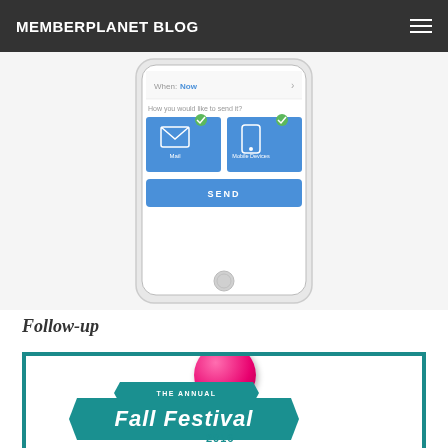MEMBERPLANET BLOG
[Figure (screenshot): Mobile phone screen showing a message sending interface with fields for 'When: Now', 'How you would like to send it?' with Mail and Mobile Devices options checked, and a SEND button.]
Follow-up
[Figure (illustration): The Annual Fall Festival 2016 promo graphic with teal banner ribbons and a pink ball, inside a teal-bordered box.]